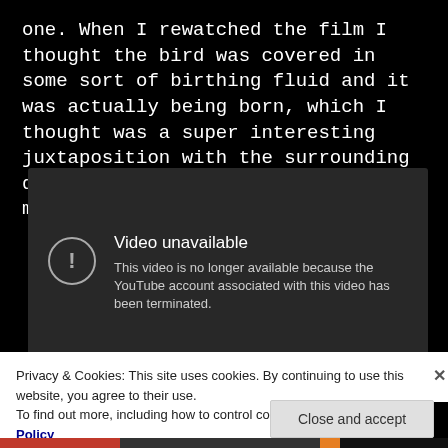one. When I rewatched the film I thought the bird was covered in some sort of birthing fluid and it was actually being born, which I thought was a super interesting juxtaposition with the surrounding death, but I guess a dying bird makes more sense.
[Figure (screenshot): Embedded YouTube video player showing error: 'Video unavailable – This video is no longer available because the YouTube account associated with this video has been terminated.']
Privacy & Cookies: This site uses cookies. By continuing to use this website, you agree to their use.
To find out more, including how to control cookies, see here: Cookie Policy
Close and accept